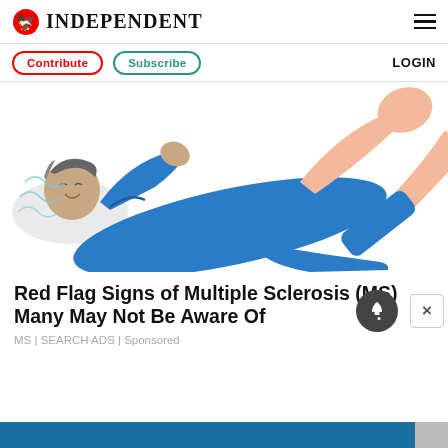INDEPENDENT
Contribute | Subscribe | LOGIN
[Figure (illustration): Illustration of a person lying on their back in a blue suit, appearing to be in distress with one leg raised in the air and arms in an uncomfortable position, suggesting muscle spasms or tremors associated with Multiple Sclerosis.]
Red Flag Signs of Multiple Sclerosis (MS) Many May Not Be Aware Of
MS | SEARCH ADS | Sponsored